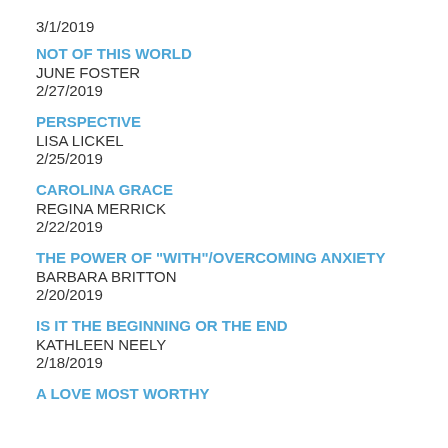3/1/2019
NOT OF THIS WORLD
JUNE FOSTER
2/27/2019
PERSPECTIVE
LISA LICKEL
2/25/2019
CAROLINA GRACE
REGINA MERRICK
2/22/2019
THE POWER OF "WITH"/OVERCOMING ANXIETY
BARBARA BRITTON
2/20/2019
IS IT THE BEGINNING OR THE END
KATHLEEN NEELY
2/18/2019
A LOVE MOST WORTHY